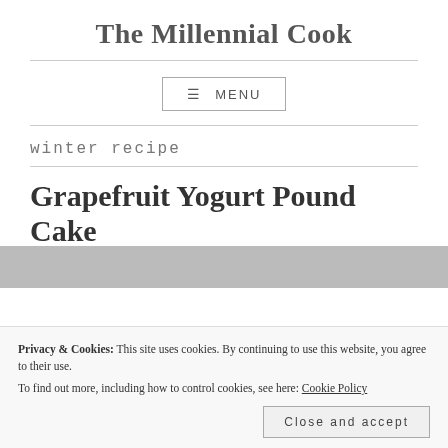The Millennial Cook
winter recipe
Grapefruit Yogurt Pound Cake
Privacy & Cookies: This site uses cookies. By continuing to use this website, you agree to their use.
To find out more, including how to control cookies, see here: Cookie Policy
Close and accept